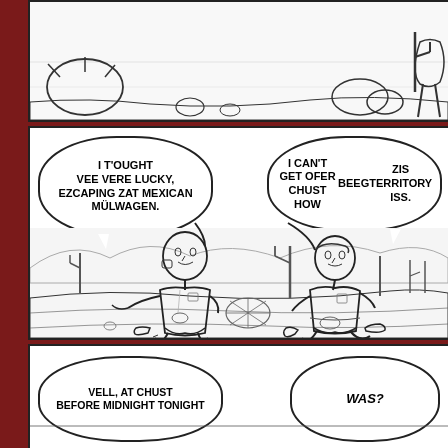[Figure (illustration): Top comic panel showing desert scene with cacti, rocks, and a character in the foreground (partial view).]
[Figure (illustration): Middle comic panel: Two men walking through desert landscape with saguaro cacti and mountains in background. Left man has speech bubble: 'I T'OUGHT VEE VERE LUCKY, EZCAPING ZAT MEXICAN MÜLWAGEN.' Right man has speech bubble: 'I CAN'T GET OFER CHUST HOW BEEG ZIS TERRITORY ISS.']
[Figure (illustration): Bottom comic panel (partially visible): Two speech bubbles. Left: 'VELL, AT CHUST BEFORE MIDNIGHT TONIGHT' Right: 'WAS?']